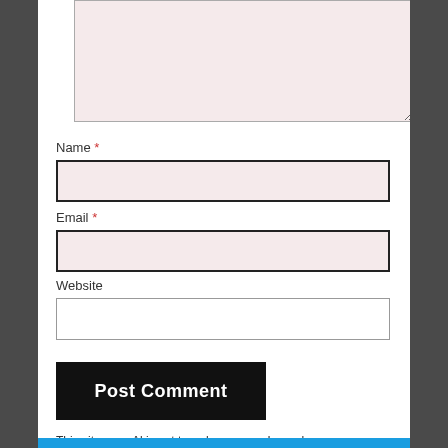[Figure (screenshot): A comment form textarea with pinkish background, partially visible at top of page]
Name *
[Figure (screenshot): Name input field with pinkish background and dark border]
Email *
[Figure (screenshot): Email input field with pinkish background and dark border]
Website
[Figure (screenshot): Website input field with white background and light border]
Post Comment
This site uses Akismet to reduce spam. Learn how your comment data is processed.